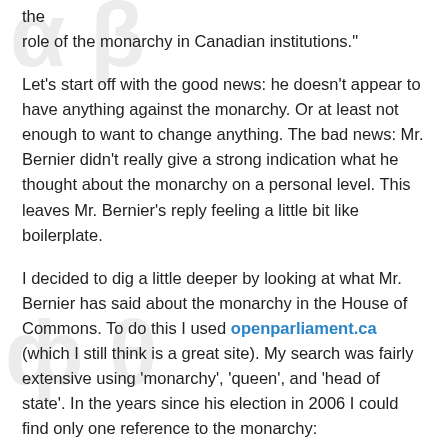the role of the monarchy in Canadian institutions."
Let's start off with the good news: he doesn't appear to have anything against the monarchy. Or at least not enough to want to change anything. The bad news: Mr. Bernier didn't really give a strong indication what he thought about the monarchy on a personal level. This leaves Mr. Bernier's reply feeling a little bit like boilerplate.
I decided to dig a little deeper by looking at what Mr. Bernier has said about the monarchy in the House of Commons. To do this I used openparliament.ca (which I still think is a great site). My search was fairly extensive using 'monarchy', 'queen', and 'head of state'. In the years since his election in 2006 I could find only one reference to the monarchy:
"Mr. Speaker, as we know, Canada is a democratic country with a parliamentary system, and under the Constitution, Canada's head of state is the Queen of England.